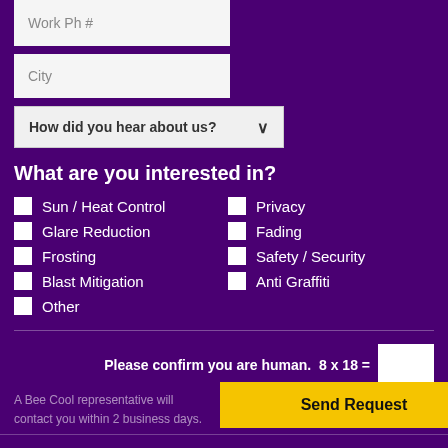Work Ph #
City
How did you hear about us?
What are you interested in?
Sun / Heat Control
Glare Reduction
Frosting
Blast Mitigation
Other
Privacy
Fading
Safety / Security
Anti Graffiti
Please confirm you are human.  8 x 18 =
A Bee Cool representative will contact you within 2 business days.
Send Request
Home Stony Plain
Products Stony Plain